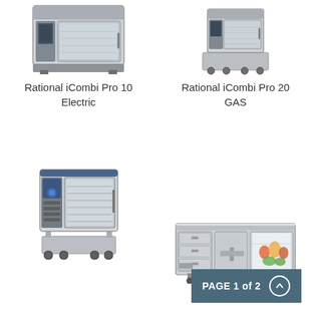[Figure (photo): Rational iCombi Pro 10 Electric combi oven, front view, stainless steel, top-left of page]
[Figure (photo): Rational iCombi Pro 20 GAS combi oven on trolley stand, front view, stainless steel, top-right of page]
Rational iCombi Pro 10 Electric
Rational iCombi Pro 20 GAS
[Figure (photo): Rational iCombi Pro 20 large combi oven on wheeled stand, front view with glass door showing trays inside, bottom-left of page]
[Figure (photo): Commercial refrigerated prep counter with 3 doors and one open showing vegetables inside, stainless steel, bottom-right of page]
PAGE 1 of 2